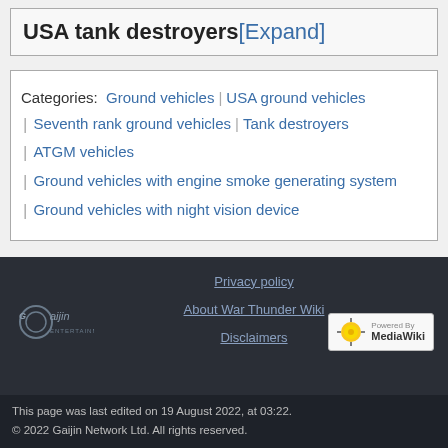USA tank destroyers[Expand]
Categories:  Ground vehicles | USA ground vehicles | Seventh rank ground vehicles | Tank destroyers | ATGM vehicles | Ground vehicles with engine smoke generating system | Ground vehicles with night vision device
Privacy policy
About War Thunder Wiki
Disclaimers
This page was last edited on 19 August 2022, at 03:22.
© 2022 Gaijin Network Ltd. All rights reserved.